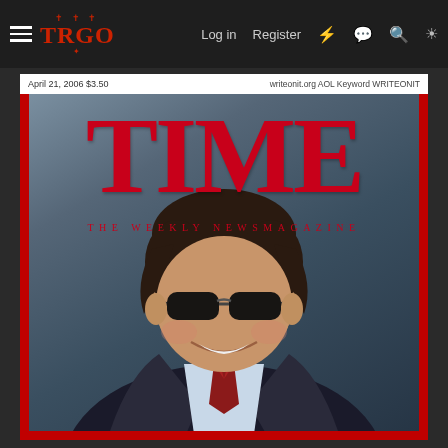≡ TRGO  Log in  Register
[Figure (photo): TIME magazine cover dated April 21, 2006, price $3.50, writeonit.org AOL Keyword WRITEONIT. Shows a man in a dark suit and red tie wearing dark sunglasses, smiling. Large red TIME masthead at top, subtitle THE WEEKLY NEWSMAGAZINE below it. Red border frame around cover.]